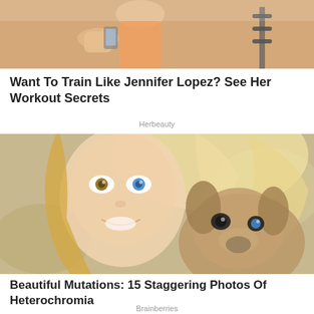[Figure (photo): Cropped photo showing a person in an orange/peach workout top in a gym setting, partial view of fitness equipment in background]
Want To Train Like Jennifer Lopez? See Her Workout Secrets
Herbeauty
[Figure (photo): Blonde woman with heterochromia (different colored eyes) smiling, holding a puppy with one blue eye, photo taken outdoors with blurred background]
Beautiful Mutations: 15 Staggering Photos Of Heterochromia
Brainberries